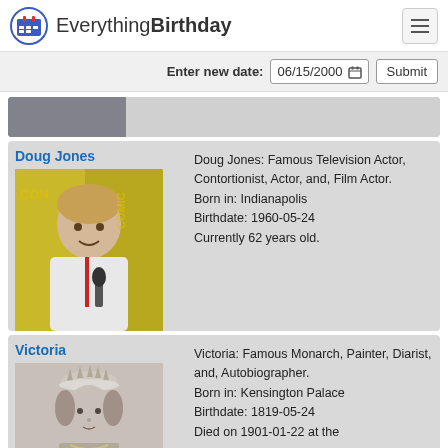EverythingBirthday
Enter new date: 06/15/2000  Submit
[Figure (photo): Partial photo of a person, cropped at top]
Doug Jones
Doug Jones: Famous Television Actor, Contortionist, Actor, and, Film Actor.
Born in: Indianapolis
Birthdate: 1960-05-24
Currently 62 years old.
[Figure (photo): Photo of Doug Jones at Comic-Con, holding a microphone, wearing a white shirt with a red lanyard]
Victoria
Victoria: Famous Monarch, Painter, Diarist, and, Autobiographer.
Born in: Kensington Palace
Birthdate: 1819-05-24
Died on 1901-01-22 at the age of 81 years old.
[Figure (photo): Black and white portrait photo of Queen Victoria wearing crown and veil]